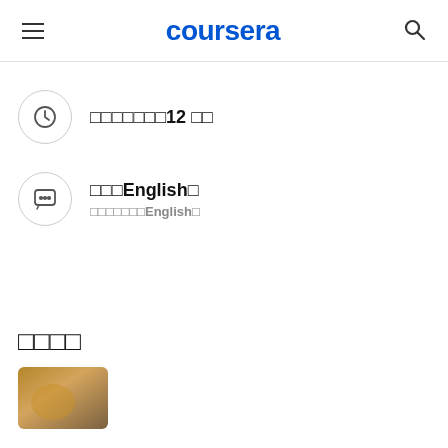coursera
□□□□□□□12 □□
□□□English□
□□□□□□□English□
□□□□
[Figure (photo): Thumbnail image partially visible at bottom of page]